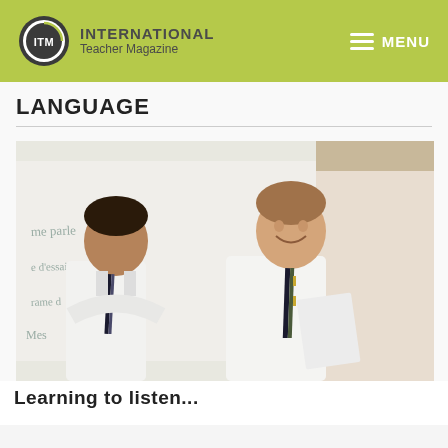ITM International Teacher Magazine | MENU
LANGUAGE
[Figure (photo): Two male students in school uniforms (white shirts, dark striped ties) standing in front of a whiteboard with French writing, smiling and looking at a piece of paper. A poster with a figure in a red cloak is visible in the background.]
Learning to listen...